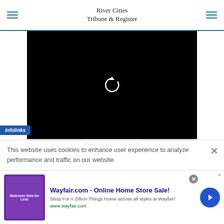River Cities Tribune & Register
[Figure (screenshot): Black video player screen with a white circular replay/refresh arrow icon in the center, on a light gray monitor base with a dark control bar at the bottom]
This website uses cookies to enhance user experience to analyze performance and traffic on our website.
[Figure (logo): infolinks badge in blue]
[Figure (screenshot): Wayfair.com advertisement banner showing 'Wayfair.com - Online Home Store Sale!' with bedroom furniture image and 'Shop For A Zillion Things Home across all styles at Wayfair!' text and www.wayfair.com URL]